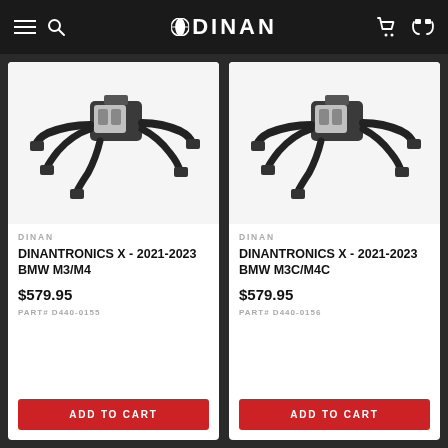DINAN
[Figure (photo): Electronic module with wiring harness connectors - Dinantronics X product photo for BMW M3/M4]
DINAN
DINANTRONICS X - 2021-2023 BMW M3/M4
$579.95
PART# D440-0155
ADD TO CART
[Figure (photo): Electronic module with wiring harness connectors - Dinantronics X product photo for BMW M3C/M4C]
DINAN
DINANTRONICS X - 2021-2023 BMW M3C/M4C
$579.95
PART# D440-0156
ADD TO CART